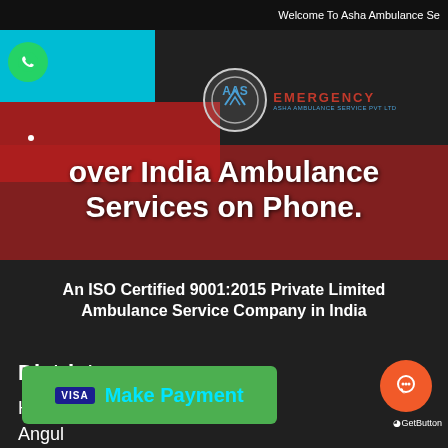Welcome To Asha Ambulance Se
[Figure (screenshot): Asha Ambulance Service website screenshot showing logo with EMERGENCY text and AAS Ambulance Service Pvt Ltd branding]
over India Ambulance Services on Phone.
An ISO Certified 9001:2015 Private Limited Ambulance Service Company in India
Districts:
Home
Angul
Balangir
Balasore
Bargarh
Bhadrak
Make Payment
GetButton